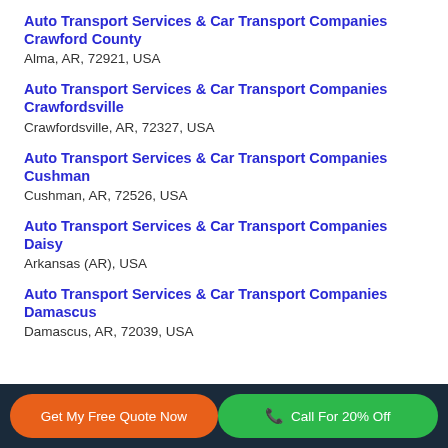Auto Transport Services & Car Transport Companies Crawford County
Alma, AR, 72921, USA
Auto Transport Services & Car Transport Companies Crawfordsville
Crawfordsville, AR, 72327, USA
Auto Transport Services & Car Transport Companies Cushman
Cushman, AR, 72526, USA
Auto Transport Services & Car Transport Companies Daisy
Arkansas (AR), USA
Auto Transport Services & Car Transport Companies Damascus
Damascus, AR, 72039, USA
Get My Free Quote Now | Call For 20% Off